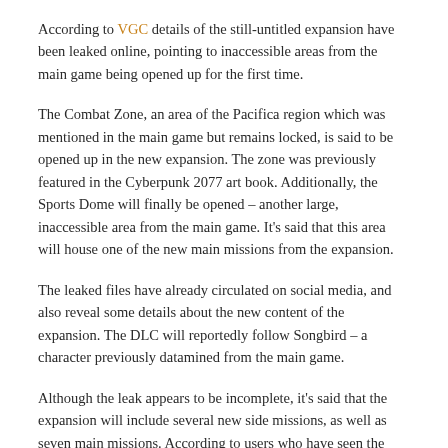According to VGC details of the still-untitled expansion have been leaked online, pointing to inaccessible areas from the main game being opened up for the first time.
The Combat Zone, an area of the Pacifica region which was mentioned in the main game but remains locked, is said to be opened up in the new expansion. The zone was previously featured in the Cyberpunk 2077 art book. Additionally, the Sports Dome will finally be opened – another large, inaccessible area from the main game. It's said that this area will house one of the new main missions from the expansion.
The leaked files have already circulated on social media, and also reveal some details about the new content of the expansion. The DLC will reportedly follow Songbird – a character previously datamined from the main game.
Although the leak appears to be incomplete, it's said that the expansion will include several new side missions, as well as seven main missions. According to users who have seen the leaked files, the expansion will also include fixer quests, world stories, and new world encounters.
It's also noted that there seems to be very little in the way of new dialogue from Johnny Silverhand, prompting speculation that there may have been an issue regarding Keanu Reeves' availability when producing